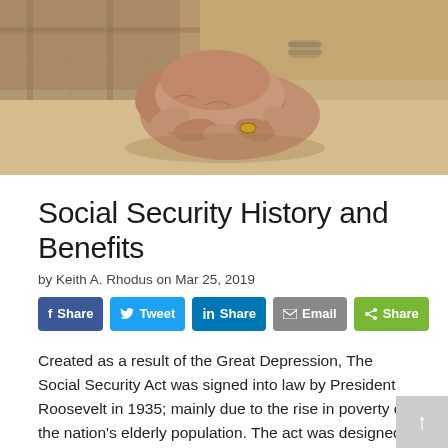[Figure (photo): Close-up photo of elderly person's clasped hands resting on lap, wearing a gold ring, dressed in plaid shirt and khaki pants]
Social Security History and Benefits
by Keith A. Rhodus on Mar 25, 2019
[Figure (infographic): Social sharing buttons: Facebook Share, Twitter Tweet, LinkedIn Share, Email, Share]
Created as a result of the Great Depression, The Social Security Act was signed into law by President Roosevelt in 1935; mainly due to the rise in poverty of the nation's elderly population. The act was designed to provide retired workers ages 65 and older with a continuing income after retirement.